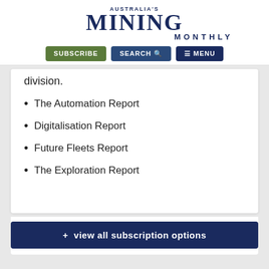AUSTRALIA'S MINING MONTHLY
division.
The Automation Report
Digitalisation Report
Future Fleets Report
The Exploration Report
+ view all subscription options